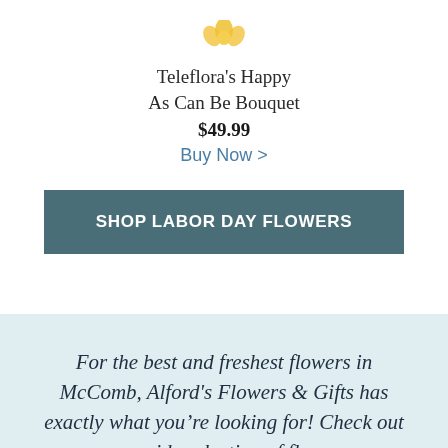[Figure (illustration): Partial view of a yellow flower bouquet illustration at the top of the page]
Teleflora's Happy As Can Be Bouquet
$49.99
Buy Now >
SHOP LABOR DAY FLOWERS
For the best and freshest flowers in McComb, Alford's Flowers & Gifts has exactly what you're looking for! Check out our wide selection of flower